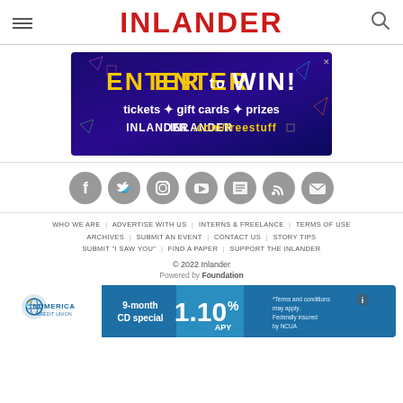INLANDER
[Figure (infographic): ENTER TO WIN! tickets + gift cards + prizes INLANDER.com/freestuff advertisement banner with dark blue/purple background]
[Figure (infographic): Row of 7 social media icon circles: Facebook, Twitter, Instagram, YouTube, newspaper/magazine, RSS, Email]
WHO WE ARE | ADVERTISE WITH US | INTERNS & FREELANCE | TERMS OF USE
ARCHIVES | SUBMIT AN EVENT | CONTACT US | STORY TIPS
SUBMIT "I SAW YOU" | FIND A PAPER | SUPPORT THE INLANDER
© 2022 Inlander
Powered by Foundation
[Figure (infographic): Numerica Credit Union advertisement: 9-month CD special 1.10% APY. Terms and conditions may apply. Federally insured by NCUA.]